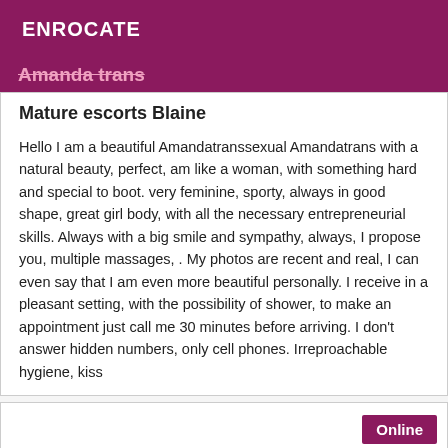ENROCATE
Amanda trans
Mature escorts Blaine
Hello I am a beautiful Amandatranssexual Amandatrans with a natural beauty, perfect, am like a woman, with something hard and special to boot. very feminine, sporty, always in good shape, great girl body, with all the necessary entrepreneurial skills. Always with a big smile and sympathy, always, I propose you, multiple massages, . My photos are recent and real, I can even say that I am even more beautiful personally. I receive in a pleasant setting, with the possibility of shower, to make an appointment just call me 30 minutes before arriving. I don't answer hidden numbers, only cell phones. Irreproachable hygiene, kiss
Online